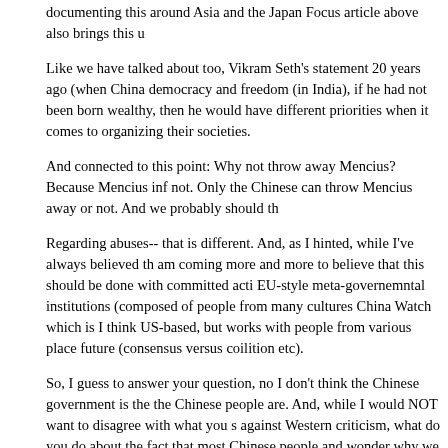documenting this around Asia and the Japan Focus article above also brings this u
Like we have talked about too, Vikram Seth's statement 20 years ago (when China democracy and freedom (in India), if he had not been born wealthy, then he would have different priorities when it comes to organizing their societies.
And connected to this point: Why not throw away Mencius? Because Mencius inf not. Only the Chinese can throw Mencius away or not. And we probably should th
Regarding abuses-- that is different. And, as I hinted, while I've always believed th am coming more and more to believe that this should be done with committed acti EU-style meta-governemntal institutions (composed of people from many cultures China Watch which is I think US-based, but works with people from various place future (consensus versus coilition etc).
So, I guess to answer your question, no I don't think the Chinese government is the the Chinese people are. And, while I would NOT want to disagree with what you s against Western criticism, what do you do about the fact that most Chinese people and wonder why we criticize China but remain quiet about Saudia Arabia or Duba
It is definitely a slippery slope and I wonder what Khanna would suggest?
Regarding his book-- because it is a region by region look at individual countries-- you said. His ideas, on the other hand, well, put it this way, I look forward to heari
Posted by: Peony | November 17, 2008 at 01:20 AM
Namit, PS: Did you ever see this debate called "Debating Democracy Promotion i views, I guess. More later--